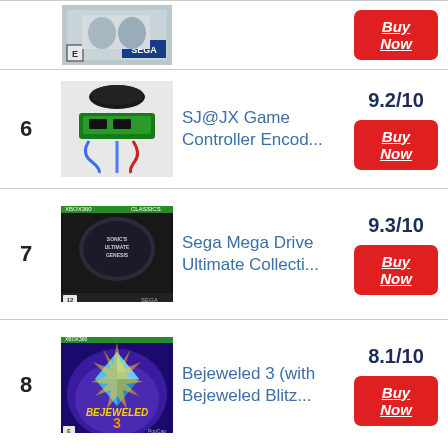| # | Image | Product | Score/Action |
| --- | --- | --- | --- |
|  | SEGA game image |  | Buy Now |
| 6 | SJ@JX controller encoder image | SJ@JX Game Controller Encod... | 9.2/10 | Buy Now |
| 7 | Sega Mega Drive collection image | Sega Mega Drive Ultimate Collecti... | 9.3/10 | Buy Now |
| 8 | Bejeweled 3 image | Bejeweled 3 (with Bejeweled Blitz... | 8.1/10 | Buy Now |
|  | Xbox 360 game image |  |  |